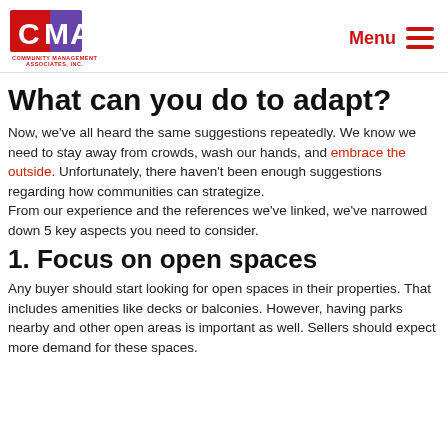CMA Community Management Associates, Inc. | Menu
What can you do to adapt?
Now, we've all heard the same suggestions repeatedly. We know we need to stay away from crowds, wash our hands, and embrace the outside. Unfortunately, there haven't been enough suggestions regarding how communities can strategize.
From our experience and the references we've linked, we've narrowed down 5 key aspects you need to consider.
1. Focus on open spaces
Any buyer should start looking for open spaces in their properties. That includes amenities like decks or balconies. However, having parks nearby and other open areas is important as well. Sellers should expect more demand for these spaces.